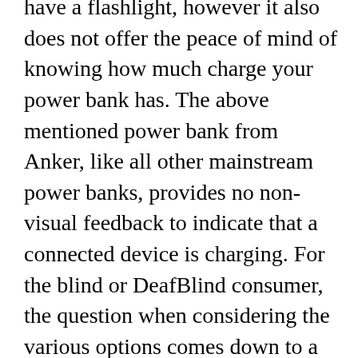have a flashlight, however it also does not offer the peace of mind of knowing how much charge your power bank has. The above mentioned power bank from Anker, like all other mainstream power banks, provides no non-visual feedback to indicate that a connected device is charging. For the blind or DeafBlind consumer, the question when considering the various options comes down to a healthy balance between affordability and functionality. If you want to spend $69, for example, the Anker PowerCore 26800 which packs 26,800 MAH, may be a strong contender. It not only has a higher battery capacity, but also has the ability to charge up to three devices at a time. Again, though, you will not get the non-visual information about the status of connected devices and approximate battery percentage left on your power bank. Also worth noting about the higher capacity